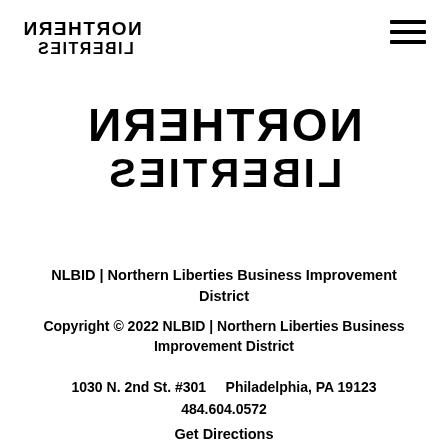[Figure (logo): Northern Liberties logo in mirrored/flipped text style, small version in top-left header]
[Figure (illustration): Hamburger menu icon (three horizontal lines) in top-right header]
[Figure (logo): Northern Liberties logo in mirrored/flipped text style, large version centered on page]
NLBID | Northern Liberties Business Improvement District
Copyright © 2022 NLBID | Northern Liberties Business Improvement District
1030 N. 2nd St. #301     Philadelphia, PA 19123
484.604.0572
Get Directions